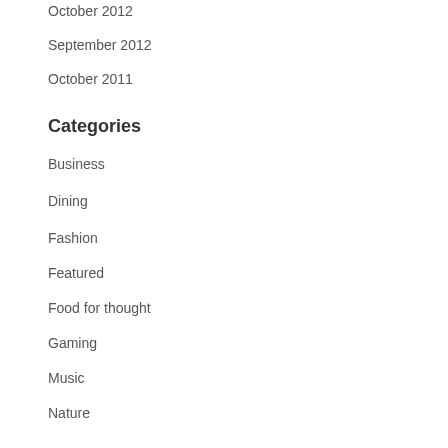October 2012
September 2012
October 2011
Categories
Business
Dining
Fashion
Featured
Food for thought
Gaming
Music
Nature
Philosophy
Quotes